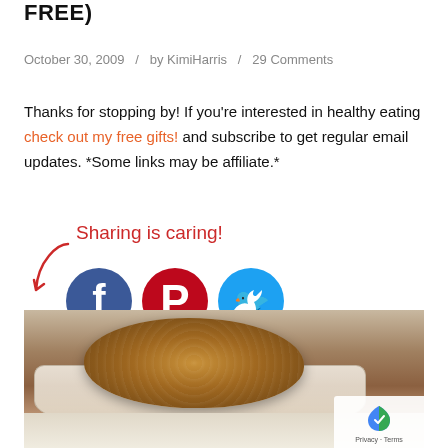FREE)
October 30, 2009   /   by KimiHarris   /   29 Comments
Thanks for stopping by! If you're interested in healthy eating check out my free gifts! and subscribe to get regular email updates. *Some links may be affiliate.*
[Figure (infographic): Sharing is caring! text with social media icons: Facebook, Pinterest, Twitter]
[Figure (photo): Close-up photo of an oatmeal cookie on a scalloped paper/plate, dusted with sugar or oats]